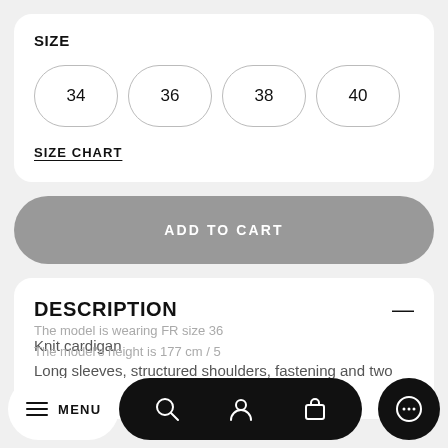SIZE
34  36  38  40
SIZE CHART
ADD TO CART
DESCRIPTION
Knit cardigan
Long sleeves, structured shoulders, fastening and two zip
The model is wearing FR size 36
The model's height is 177 cm / 5
MENU  [search icon]  [account icon]  [bag icon]  [chat icon]